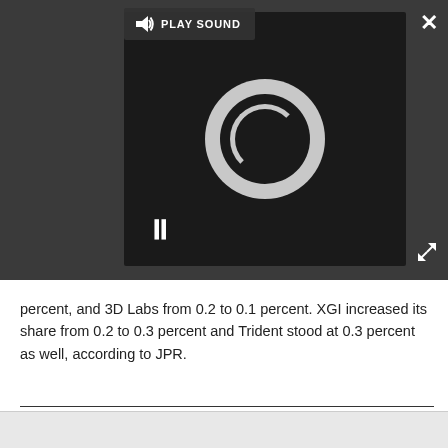[Figure (screenshot): Dark grey media player overlay showing a PLAY SOUND button bar at top, a video/audio player with a loading spinner circle and pause button (two vertical bars), a close X button top-right, and an expand arrows icon bottom-right.]
percent, and 3D Labs from 0.2 to 0.1 percent. XGI increased its share from 0.2 to 0.3 percent and Trident stood at 0.3 percent as well, according to JPR.
Wolfgang Gruener